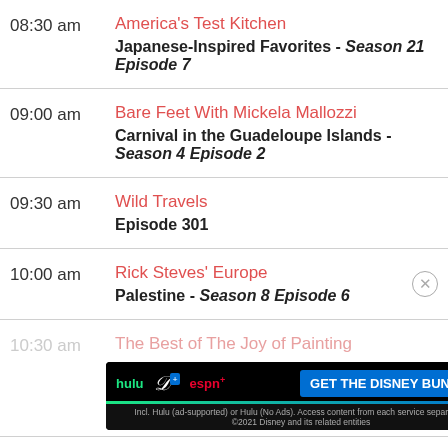08:30 am — America's Test Kitchen — Japanese-Inspired Favorites - Season 21 Episode 7
09:00 am — Bare Feet With Mickela Mallozzi — Carnival in the Guadeloupe Islands - Season 4 Episode 2
09:30 am — Wild Travels — Episode 301
10:00 am — Rick Steves' Europe — Palestine - Season 8 Episode 6
10:30 am — The Best of The Joy of Painting
[Figure (screenshot): Advertisement banner for Disney Bundle featuring Hulu, Disney+, and ESPN+ logos with 'GET THE DISNEY BUNDLE' call to action button]
11:00 am — Steven Raichlen's Project Smoke